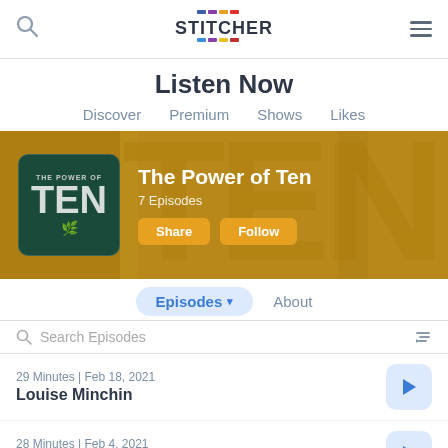Stitcher
Listen Now
Discover  Premium  Shows  Likes
[Figure (screenshot): Podcast banner for 'The Power of Ten' showing album art on a golden/amber background with large TEN text watermark]
Episodes ▾    About
Search Episodes
29 Minutes | Feb 18, 2021
Louise Minchin
28 Minutes | Feb 4, 2021
Alice Liveing